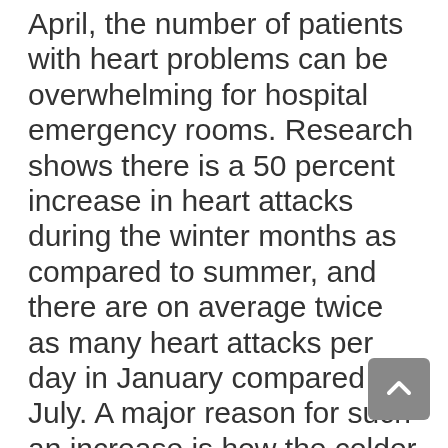April, the number of patients with heart problems can be overwhelming for hospital emergency rooms. Research shows there is a 50 percent increase in heart attacks during the winter months as compared to summer, and there are on average twice as many heart attacks per day in January compared to July. A major reason for such an increase is how the colder weather can affect the heart.  For example, exposure to cold temperatures causes blood vessels to constrict and can reduce blood flow and oxygen supply to your heart. Cold temperatures can also cause a rise in blood pressure and put undue stress on the vascular system, which can in turn lead to chest pain and ultimately more serious cardiovascular conditions.